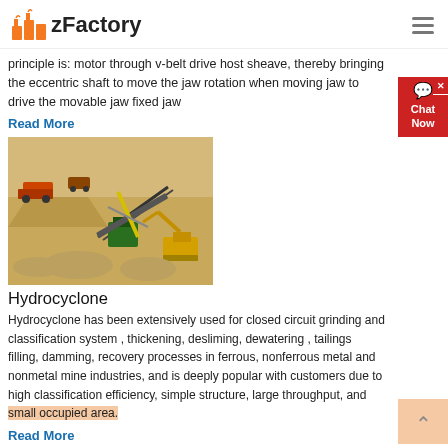zFactory
principle is: motor through v-belt drive host sheave, thereby bringing the eccentric shaft to move the jaw rotation when moving jaw to drive the movable jaw fixed jaw
Read More
[Figure (illustration): Isometric illustration of a mining/quarry site with heavy machinery including excavators, dump trucks, conveyors, and material processing equipment on sandy/rocky terrain with piles of material]
Hydrocyclone
Hydrocyclone has been extensively used for closed circuit grinding and classification system , thickening, desliming, dewatering , tailings filling, damming, recovery processes in ferrous, nonferrous metal and nonmetal mine industries, and is deeply popular with customers due to high classification efficiency, simple structure, large throughput, and small occupied area.
Read More